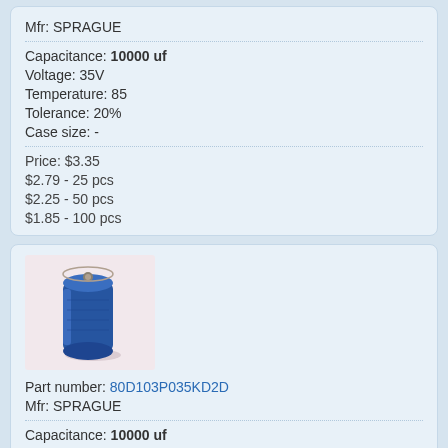Mfr: SPRAGUE
Capacitance: 10000 uf
Voltage: 35V
Temperature: 85
Tolerance: 20%
Case size: -
Price: $3.35
$2.79 - 25 pcs
$2.25 - 50 pcs
$1.85 - 100 pcs
[Figure (photo): Blue cylindrical electrolytic capacitor (Sprague) standing upright, showing top terminal]
Part number: 80D103P035KD2D
Mfr: SPRAGUE
Capacitance: 10000 uf
Voltage: 35V
Temperature: 85